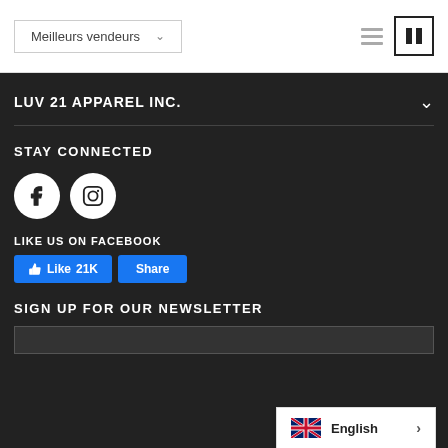Meilleurs vendeurs
LUV 21 APPAREL INC.
STAY CONNECTED
[Figure (illustration): Facebook and Instagram social media circle icons]
LIKE US ON FACEBOOK
[Figure (screenshot): Facebook Like 21K and Share buttons]
SIGN UP FOR OUR NEWSLETTER
[Figure (illustration): Language selector widget showing UK flag and English label with arrow]